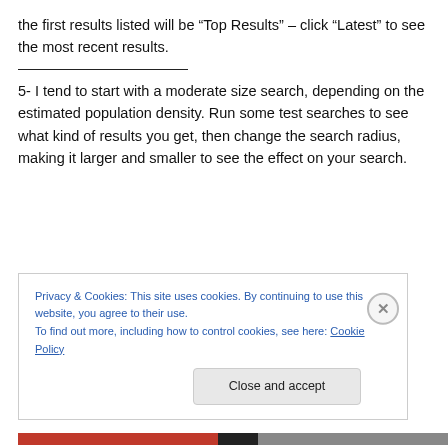the first results listed will be “Top Results” – click “Latest” to see the most recent results.
5- I tend to start with a moderate size search, depending on the estimated population density. Run some test searches to see what kind of results you get, then change the search radius, making it larger and smaller to see the effect on your search.
Privacy & Cookies: This site uses cookies. By continuing to use this website, you agree to their use.
To find out more, including how to control cookies, see here: Cookie Policy
Close and accept